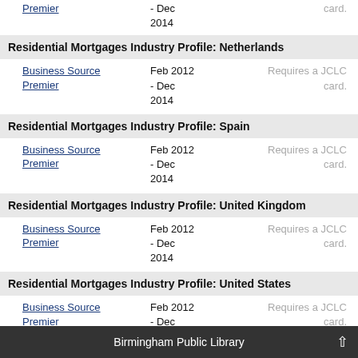Business Source Premier | - Dec 2014 | Requires a JCLC card.
Residential Mortgages Industry Profile: Netherlands
Business Source Premier | Feb 2012 - Dec 2014 | Requires a JCLC card.
Residential Mortgages Industry Profile: Spain
Business Source Premier | Feb 2012 - Dec 2014 | Requires a JCLC card.
Residential Mortgages Industry Profile: United Kingdom
Business Source Premier | Feb 2012 - Dec 2014 | Requires a JCLC card.
Residential Mortgages Industry Profile: United States
Business Source Premier | Feb 2012 - Dec 2014 | Requires a JCLC card.
Residential Real Estate Investment and Operations, Including Apartment Properties and Related REITs Industry (U.S.)
Business and Company Resource Center | Sep 2017 - Present | Requires a JCLC card.
Birmingham Public Library